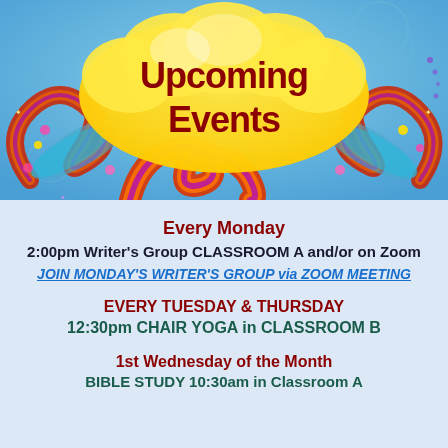[Figure (illustration): Colorful decorative banner with swirling psychedelic designs in red, orange, purple on a sky blue background with clouds and flowers. Yellow cloud shape in center with dark red bold text reading 'Upcoming Events'.]
Every Monday
2:00pm Writer's Group CLASSROOM A and/or on Zoom
JOIN MONDAY'S WRITER'S GROUP via ZOOM MEETING
EVERY TUESDAY & THURSDAY
12:30pm CHAIR YOGA in CLASSROOM B
1st Wednesday of the Month
BIBLE STUDY 10:30am in Classroom A